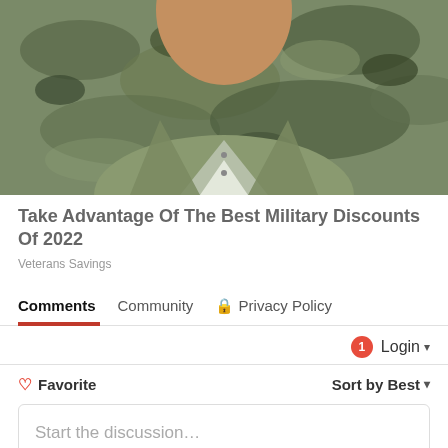[Figure (photo): Photo of a person in military camouflage uniform, visible from chest up, with head partially cropped at top]
Take Advantage Of The Best Military Discounts Of 2022
Veterans Savings
Comments  Community  Privacy Policy
Login
Favorite  Sort by Best
Start the discussion...
LOG IN WITH